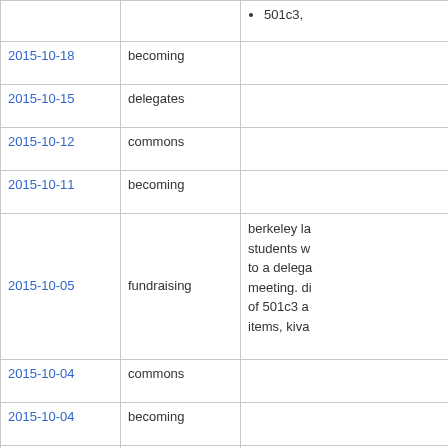| Date | Tag | Description |
| --- | --- | --- |
|  |  | • 501c3, |
| 2015-10-18 | becoming |  |
| 2015-10-15 | delegates |  |
| 2015-10-12 | commons |  |
| 2015-10-11 | becoming |  |
| 2015-10-05 | fundraising | berkeley la students w to a delega meeting. di of 501c3 a items, kiva |
| 2015-10-04 | commons |  |
| 2015-10-04 | becoming |  |
| 2015-10-01 | delegates | • David k sabbati ended.
• Front h |